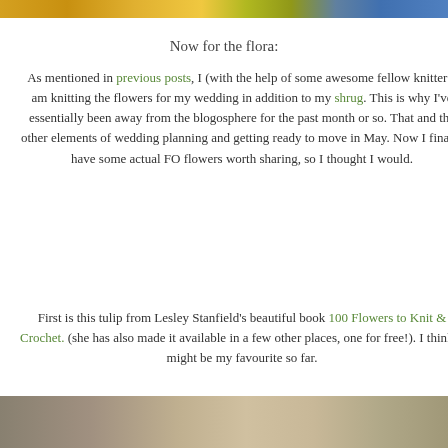[Figure (photo): Top portion of a photo, appears to show colorful flowers or yarn items in yellow, green and blue tones]
Now for the flora:
As mentioned in previous posts, I (with the help of some awesome fellow knitters) am knitting the flowers for my wedding in addition to my shrug. This is why I've essentially been away from the blogosphere for the past month or so. That and the other elements of wedding planning and getting ready to move in May. Now I finally have some actual FO flowers worth sharing, so I thought I would.
First is this tulip from Lesley Stanfield's beautiful book 100 Flowers to Knit & Crochet. (she has also made it available in a few other places, one for free!). I think it might be my favourite so far.
[Figure (photo): Bottom portion showing a white knitted flower on a brownish background]